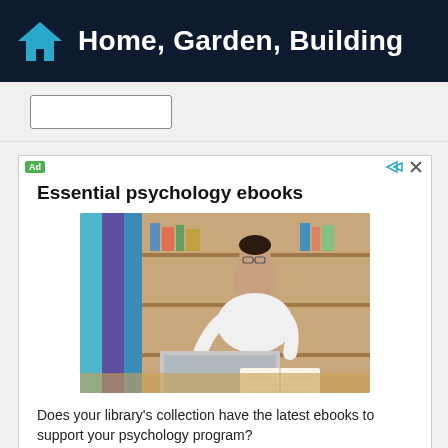Home, Garden, Building
[Figure (screenshot): Ad banner for Essential psychology ebooks featuring a woman with glasses working on a laptop next to an open book, with bookshelves in the background. Includes text: 'Essential psychology ebooks', 'Does your library's collection have the latest ebooks to support your psychology program?', brand label 'APA', and a 'Learn More' button.]